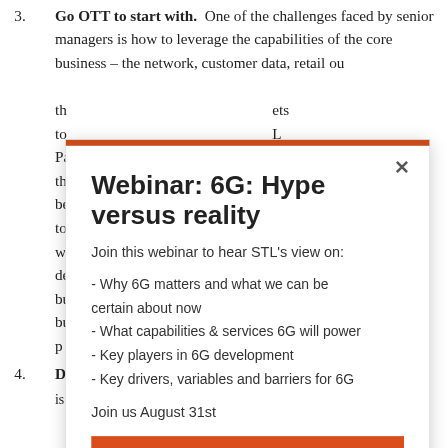3. Go OTT to start with. One of the challenges faced by senior managers is how to leverage the capabilities of the core business – the network, customer data, retail ou[...] th[...] ets to[...] L Pa[...] th[...] be[...] e to[...] w[...] de[...] bu[...] bu[...] p[...]
[Figure (screenshot): A modal/popup dialog with an orange top bar and close (X) button. Title: 'Webinar: 6G: Hype versus reality'. Subtitle: 'Join this webinar to hear STL's view on:'. Bullet points: '- Why 6G matters and what we can be certain about now', '- What capabilities & services 6G will power', '- Key players in 6G development', '- Key drivers, variables and barriers for 6G'. Text: 'Join us August 31st'. Orange button: 'Register for the webinar here'.]
4. De[...] is no point in filling the new business unit with [...]